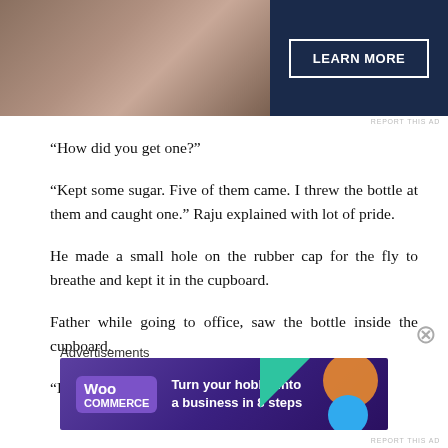[Figure (photo): Top advertisement banner with photo on left and dark navy panel with LEARN MORE button on right]
“How did you get one?”
“Kept some sugar. Five of them came. I threw the bottle at them and caught one.” Raju explained with lot of pride.
He made a small hole on the rubber cap for the fly to breathe and kept it in the cupboard.
Father while going to office, saw the bottle inside the cupboard.
“Do I see what I see?” he asked mom.
Advertisements
[Figure (photo): WooCommerce advertisement: Turn your hobby into a business in 8 steps, purple gradient background with decorative shapes]